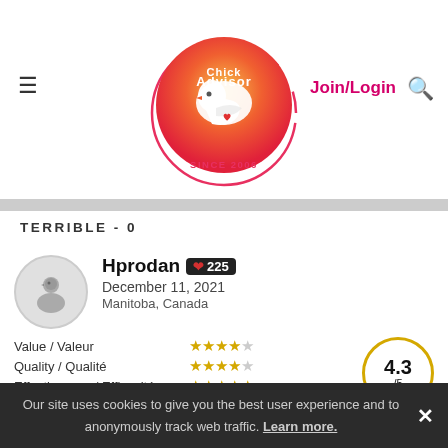ChickAdvisor — Since 2006 | Join/Login
TERRIBLE - 0
Hprodan ❤ 225
December 11, 2021
Manitoba, Canada
Value / Valeur ★★★★☆
Quality / Qualité ★★★★☆
Effectiveness / Efficacité ★★★★★
Recommended? You Betcha!
4.3/5
Best bathroom cleaner for the price
This is my favourite cleaner to use for the bathroom- smell
Our site uses cookies to give you the best user experience and to anonymously track web traffic. Learn more.